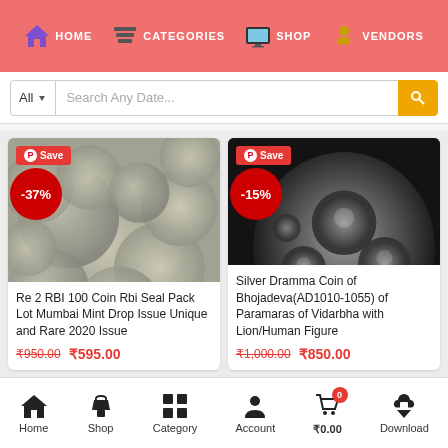HOME  CATEGORIES  SHOP  VENDORS
All  Search Any Date...
[Figure (photo): Pile of silver Indian coins with -37% discount badge and Save button]
Re 2 RBI 100 Coin Rbi Seal Pack Lot Mumbai Mint Drop Issue Unique and Rare 2020 Issue
₹950.00  ₹595.00
[Figure (photo): Close-up of an ancient Silver Dramma Coin with -15% discount badge and Save button]
Silver Dramma Coin of Bhojadeva(AD1010-1055) of Paramaras of Vidarbha with Lion/Human Figure
₹1,000.00  ₹850.00
Home  Shop  Category  Account  ₹0.00  Download